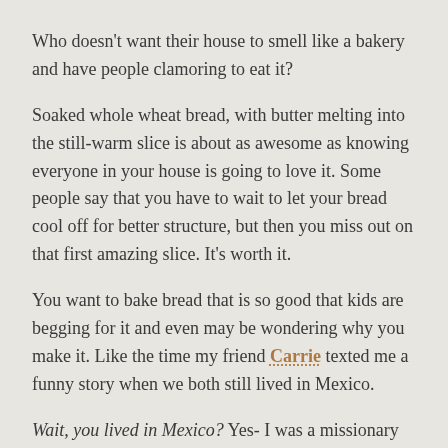Who doesn't want their house to smell like a bakery and have people clamoring to eat it?
Soaked whole wheat bread, with butter melting into the still-warm slice is about as awesome as knowing everyone in your house is going to love it. Some people say that you have to wait to let your bread cool off for better structure, but then you miss out on that first amazing slice. It's worth it.
You want to bake bread that is so good that kids are begging for it and even may be wondering why you make it. Like the time my friend Carrie texted me a funny story when we both still lived in Mexico.
Wait, you lived in Mexico? Yes- I was a missionary in Baja California for 10 years. My bread obsession was international.